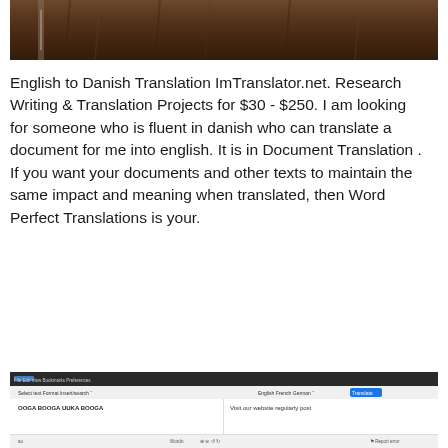[Figure (photo): Top portion of a photo showing what appears to be a dark brown animal (possibly a bear or similar), cropped view]
English to Danish Translation ImTranslator.net. Research Writing & Translation Projects for $30 - $250. I am looking for someone who is fluent in danish who can translate a document for me into english. It is in Document Translation . If you want your documents and other texts to maintain the same impact and meaning when translated, then Word Perfect Translations is your.
[Figure (screenshot): Screenshot of a translation web application interface showing toolbar with options, text fields with 'OOGA BOOGA UUKA BOOGA' on the left and 'Visit our website regularly post' on the right, with dark background]